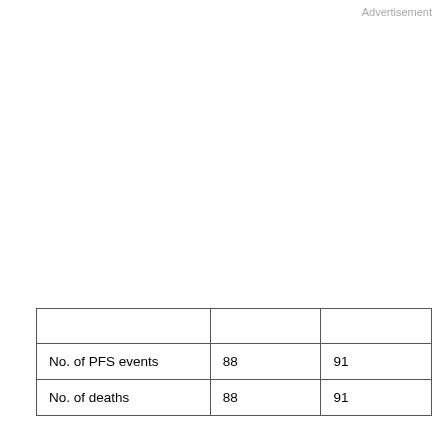Advertisement
|  |  |  |
| No. of PFS events | 88 | 91 |
| No. of deaths | 88 | 91 |
aTissue samples collected from patients recruited in the CONFIRM 1 or 2 studies.
Abbreviation: CR/PR, complete and partial response.
Immunohistochemistry
This site uses cookies. By continuing to use our website, you are agreeing to our privacy policy.
Accept
A modified streptavidin technique was used for immunohistochemistry, as previously reported (12, 13). The primary antibody (ab9002 recognizing the LDH5,